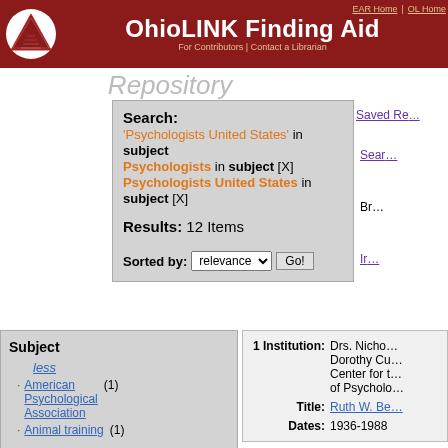OhioLINK Finding Aid Repository — EAR Home | OL Home | For Contributors | Contact a Librarian
Repository
Saved Re...
Search: 'Psychologists United States' in subject
Psychologists in subject [X]
Psychologists United States in subject [X]
Results: 12 Items
Sorted by: relevance  Go!
Sear...
Br...
Ir...
Subject
less
American Psychological Association (1)
Animal training (1)
1 Institution: Drs. Nicho... Dorothy Cu... Center for t... of Psycholo...
Title: Ruth W. Be...
Dates: 1936-1988